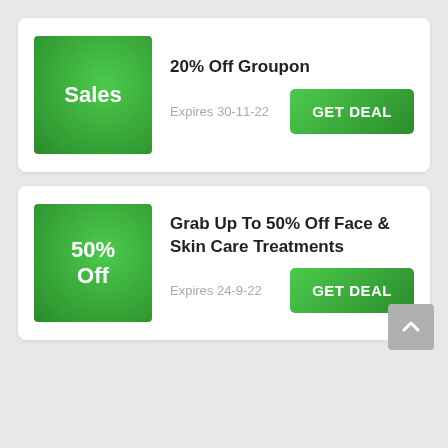[Figure (infographic): Green badge with text 'Sales']
20% Off Groupon
Expires 30-11-22
GET DEAL
[Figure (infographic): Green badge with text '50% Off']
Grab Up To 50% Off Face & Skin Care Treatments
Expires 24-9-22
GET DEAL